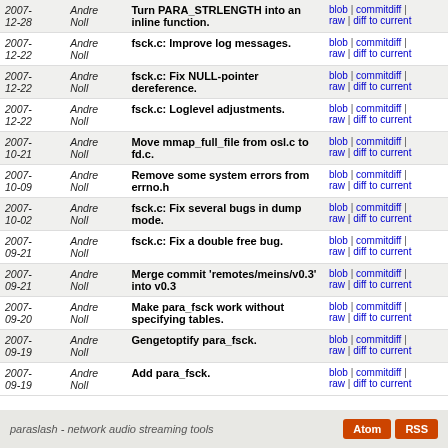| Date | Author | Message | Links |
| --- | --- | --- | --- |
| 2007-12-28 | Andre Noll | Turn PARA_STRLENGTH into an inline function. | blob | commitdiff | raw | diff to current |
| 2007-12-22 | Andre Noll | fsck.c: Improve log messages. | blob | commitdiff | raw | diff to current |
| 2007-12-22 | Andre Noll | fsck.c: Fix NULL-pointer dereference. | blob | commitdiff | raw | diff to current |
| 2007-12-22 | Andre Noll | fsck.c: Loglevel adjustments. | blob | commitdiff | raw | diff to current |
| 2007-10-21 | Andre Noll | Move mmap_full_file from osl.c to fd.c. | blob | commitdiff | raw | diff to current |
| 2007-10-09 | Andre Noll | Remove some system errors from errno.h | blob | commitdiff | raw | diff to current |
| 2007-10-02 | Andre Noll | fsck.c: Fix several bugs in dump mode. | blob | commitdiff | raw | diff to current |
| 2007-09-21 | Andre Noll | fsck.c: Fix a double free bug. | blob | commitdiff | raw | diff to current |
| 2007-09-21 | Andre Noll | Merge commit 'remotes/meins/v0.3' into v0.3 | blob | commitdiff | raw | diff to current |
| 2007-09-20 | Andre Noll | Make para_fsck work without specifying tables. | blob | commitdiff | raw | diff to current |
| 2007-09-19 | Andre Noll | Gengetoptify para_fsck. | blob | commitdiff | raw | diff to current |
| 2007-09-19 | Andre Noll | Add para_fsck. | blob | commitdiff | raw | diff to current |
paraslash - network audio streaming tools